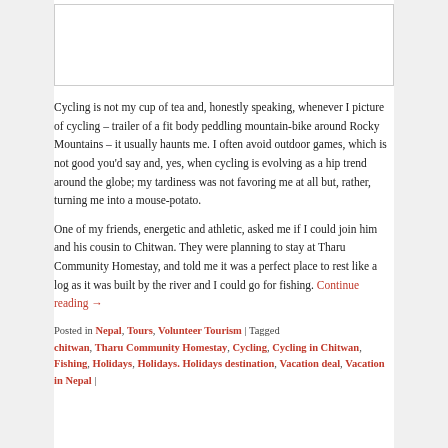[Figure (photo): Image placeholder at top of blog post]
Cycling is not my cup of tea and, honestly speaking, whenever I picture of cycling – trailer of a fit body peddling mountain-bike around Rocky Mountains – it usually haunts me. I often avoid outdoor games, which is not good you'd say and, yes, when cycling is evolving as a hip trend around the globe; my tardiness was not favoring me at all but, rather, turning me into a mouse-potato.
One of my friends, energetic and athletic, asked me if I could join him and his cousin to Chitwan. They were planning to stay at Tharu Community Homestay, and told me it was a perfect place to rest like a log as it was built by the river and I could go for fishing. Continue reading →
Posted in Nepal, Tours, Volunteer Tourism | Tagged chitwan, Tharu Community Homestay, Cycling, Cycling in Chitwan, Fishing, Holidays, Holidays. Holidays destination, Vacation deal, Vacation in Nepal |